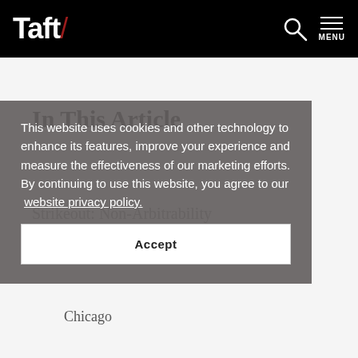Taft/ [search icon] MENU
In This Article
This website uses cookies and other technology to enhance its features, improve your experience and measure the effectiveness of our marketing efforts. By continuing to use this website, you agree to our website privacy policy.
Chicago
Accept